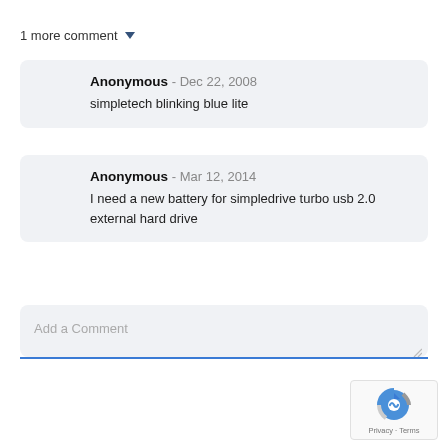1 more comment ▼
Anonymous - Dec 22, 2008
simpletech blinking blue lite
Anonymous - Mar 12, 2014
I need a new battery for simpledrive turbo usb 2.0 external hard drive
Add a Comment
[Figure (other): reCAPTCHA widget showing Google logo with Privacy and Terms links]